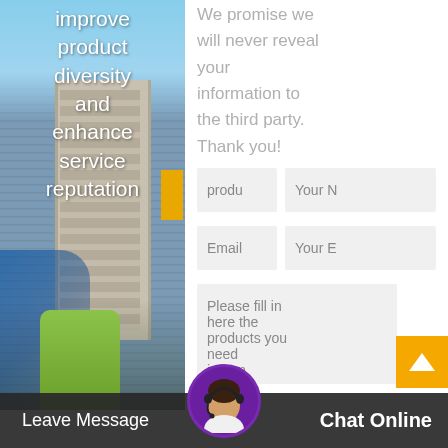[Figure (photo): Construction workers and tall building in background, left panel photo]
improve product diversity and enhance service reputation
We promise we will never reveal your information to the third party. Thank you!
[Figure (screenshot): Form fields: product input, Your Name input, Email input, Your Email input, and a textarea for product inquiry]
Please fill in here the products you need information
[Figure (photo): Customer service avatar with headset in purple circle]
Leave Message
Chat Online